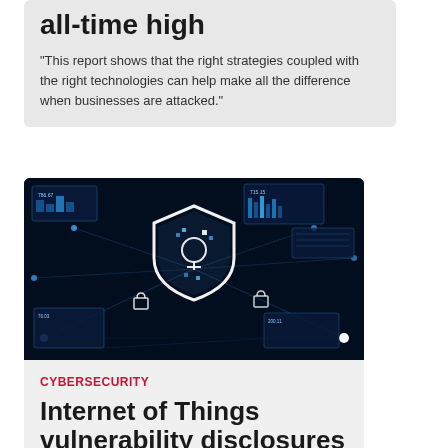all-time high
"This report shows that the right strategies coupled with the right technologies can help make all the difference when businesses are attacked."
[Figure (photo): Cybersecurity themed photo: dark blue background with glowing digital shield icon at center, surrounded by floating UI panels, data charts, lock icons, and network connection lines — a high-tech digital security concept image.]
CYBERSECURITY
Internet of Things vulnerability disclosures grew 57%